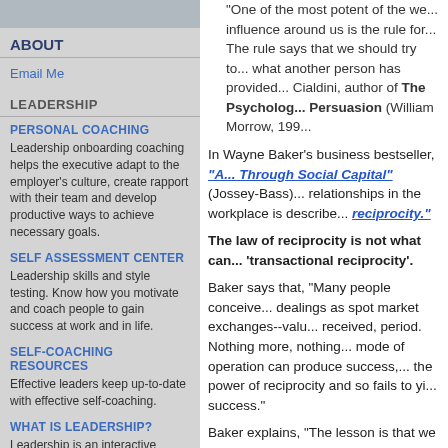[Figure (photo): Partial photo of a person at top of sidebar]
ABOUT
Email Me
LEADERSHIP
PERSONAL COACHING
Leadership onboarding coaching helps the executive adapt to the employer's culture, create rapport with their team and develop productive ways to achieve necessary goals.
SELF ASSESSMENT CENTER
Leadership skills and style testing. Know how you motivate and coach people to gain success at work and in life.
SELF-COACHING RESOURCES
Effective leaders keep up-to-date with effective self-coaching.
WHAT IS LEADERSHIP?
Leadership is an interactive conversation that pulls people toward becoming comfortable with the language of personal responsibility and commitment.
"One of the most potent of the we... influence around us is the rule for... The rule says that we should try to... what another person has provided... Cialdini, author of The Psychology of Persuasion (William Morrow, 199...
In Wayne Baker's business bestseller, "Achieving Success Through Social Capital" (Jossey-Bass)... relationships in the workplace is described... reciprocity."
The law of reciprocity is not what can... 'transactional reciprocity'.
Baker says that, "Many people conceive... dealings as spot market exchanges--valu... received, period. Nothing more, nothing... mode of operation can produce success,... the power of reciprocity and so fails to yi... success."
Baker explains, "The lesson is that we ca... of reciprocity. When we try to invoke reci...